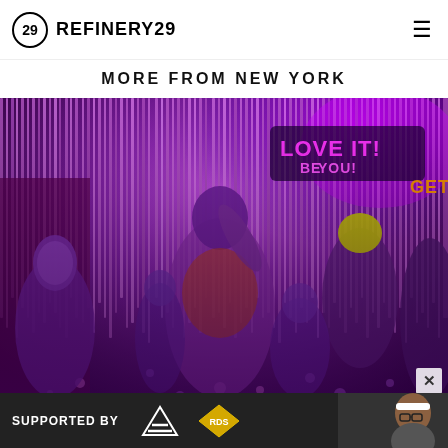REFINERY29
MORE FROM NEW YORK
[Figure (photo): People dancing at a colorful party/club event with purple and pink lighting, metallic tinsel curtains, and neon signs reading 'LOVE IT! BE YOU!' and 'GET'. A central figure in a glittery orange costume dances energetically amid a crowd of diverse partygoers.]
SUPPORTED BY adidas RDS